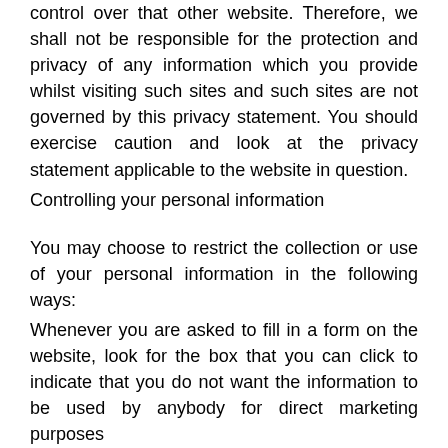control over that other website. Therefore, we shall not be responsible for the protection and privacy of any information which you provide whilst visiting such sites and such sites are not governed by this privacy statement. You should exercise caution and look at the privacy statement applicable to the website in question.
Controlling your personal information
You may choose to restrict the collection or use of your personal information in the following ways:
Whenever you are asked to fill in a form on the website, look for the box that you can click to indicate that you do not want the information to be used by anybody for direct marketing purposes
If you have previously agreed using your personal information for direct marketing purposes, you may change your mind at any time by writing to or emailing